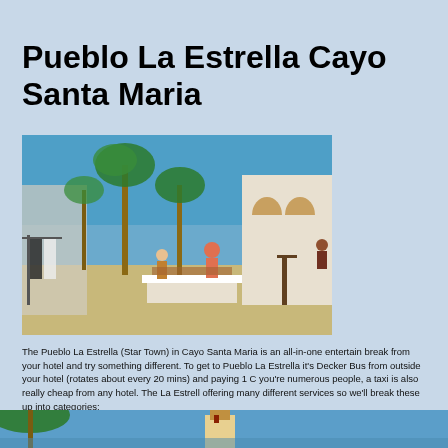Pueblo La Estrella Cayo Santa Maria
[Figure (photo): Outdoor market street scene at Pueblo La Estrella Cayo Santa Maria. Vendors display clothing and crafts along a wide sandy walkway lined with palm trees and white Mediterranean-style arched buildings under a bright blue sky.]
The Pueblo La Estrella (Star Town) in Cayo Santa Maria is an all-in-one entertain break from your hotel and try something different. To get to Pueblo La Estrella it's Decker Bus from outside your hotel (rotates about every 20 mins) and paying 1 C you're numerous people, a taxi is also really cheap from any hotel. The La Estrell offering many different services so we'll break these up into categories:
[Figure (photo): Bottom partial photo showing a tropical scene with palm trees and a small tower or structure with a blue sky background.]